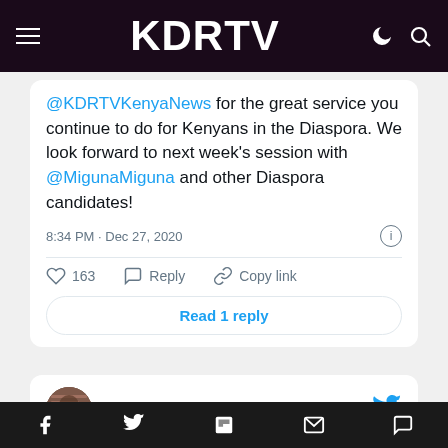KDRTV
@KDRTVKenyaNews for the great service you continue to do for Kenyans in the Diaspora. We look forward to next week's session with @MigunaMiguna and other Diaspora candidates!
8:34 PM · Dec 27, 2020
163  Reply  Copy link
Read 1 reply
Dr. Miguna Miguna